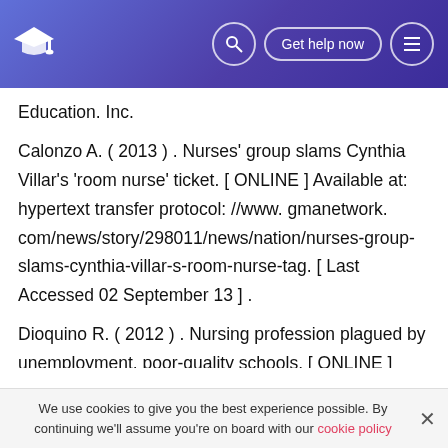Education header with logo, search, Get help now, menu
Education. Inc.
Calonzo A. ( 2013 ) . Nurses' group slams Cynthia Villar's 'room nurse' ticket. [ ONLINE ] Available at: hypertext transfer protocol: //www. gmanetwork. com/news/story/298011/news/nation/nurses-group-slams-cynthia-villar-s-room-nurse-tag. [ Last Accessed 02 September 13 ] .
Dioquino R. ( 2012 ) . Nursing profession plagued by unemployment. poor-quality schools. [ ONLINE ] Available at: hypertext transfer protocol: //www. gmanetwork.
We use cookies to give you the best experience possible. By continuing we'll assume you're on board with our cookie policy